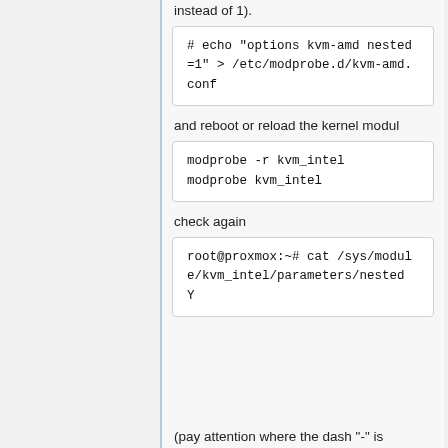instead of 1).
# echo "options kvm-amd nested=1" > /etc/modprobe.d/kvm-amd.conf
and reboot or reload the kernel modul
modprobe -r kvm_intel
modprobe kvm_intel
check again
root@proxmox:~# cat /sys/module/kvm_intel/parameters/nested
Y
(pay attention where the dash "-" is